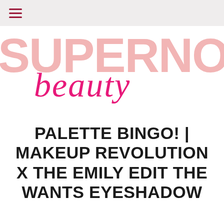≡
[Figure (logo): Supernova Beauty logo — 'SUPERNOV' in large light pink bold sans-serif letters with 'beauty' in pink cursive script overlaid below]
PALETTE BINGO! | MAKEUP REVOLUTION X THE EMILY EDIT THE WANTS EYESHADOW